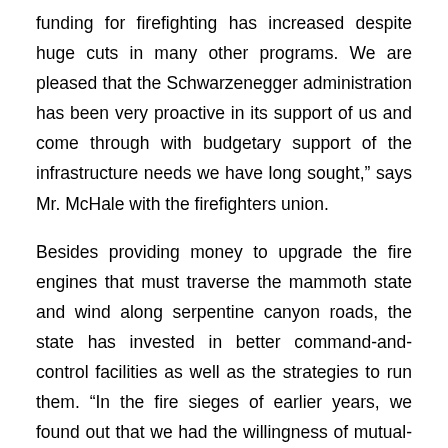funding for firefighting has increased despite huge cuts in many other programs. We are pleased that the Schwarzenegger administration has been very proactive in its support of us and come through with budgetary support of the infrastructure needs we have long sought," says Mr. McHale with the firefighters union.
Besides providing money to upgrade the fire engines that must traverse the mammoth state and wind along serpentine canyon roads, the state has invested in better command-and-control facilities as well as the strategies to run them. "In the fire sieges of earlier years, we found out that we had the willingness of mutual-aid help from other jurisdictions and states, but we were not able to communicate adequately with